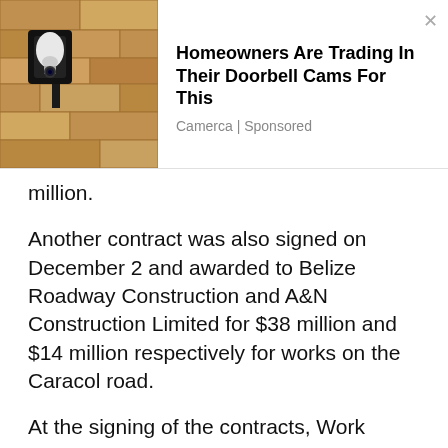[Figure (screenshot): Advertisement banner showing a wall-mounted light fixture/security camera. Ad title: 'Homeowners Are Trading In Their Doorbell Cams For This'. Source: Camerca | Sponsored]
million.
Another contract was also signed on December 2 and awarded to Belize Roadway Construction and A&N Construction Limited for $38 million and $14 million respectively for works on the Caracol road.
At the signing of the contracts, Work Minister, Rene Montero pointed out that the Caracol Road will benefit farmers along the area and also will boost tourism in that area.
With the extensive prioritization of infrastructural works, concerned residents are urging the authorities to upgrade the access